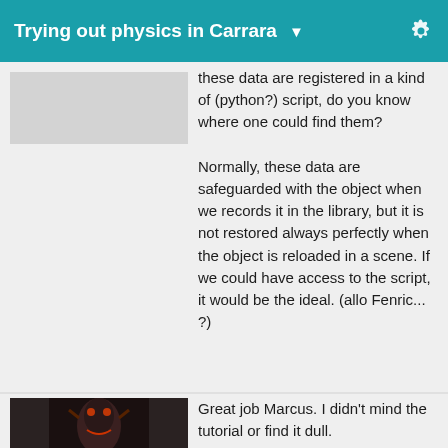Trying out physics in Carrara
these data are registered in a kind of (python?) script, do you know where one could find them? Normally, these data are safeguarded with the object when we records it in the library, but it is not restored always perfectly when the object is reloaded in a scene. If we could have access to the script, it would be the ideal. (allo Fenric... ?)
Great job Marcus. I didn't mind the tutorial or find it dull.